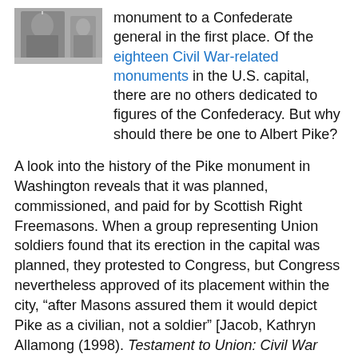[Figure (photo): Black and white photo of a monument or statue, partially visible]
monument to a Confederate general in the first place. Of the eighteen Civil War-related monuments in the U.S. capital, there are no others dedicated to figures of the Confederacy. But why should there be one to Albert Pike?
A look into the history of the Pike monument in Washington reveals that it was planned, commissioned, and paid for by Scottish Right Freemasons. When a group representing Union soldiers found that its erection in the capital was planned, they protested to Congress, but Congress nevertheless approved of its placement within the city, “after Masons assured them it would depict Pike as a civilian, not a soldier” [Jacob, Kathryn Allamong (1998). Testament to Union: Civil War Monuments in Washington, D.C. JHU Press: JHU Press. pp. 59–62]....
Read more
Not Waffling with Dinner